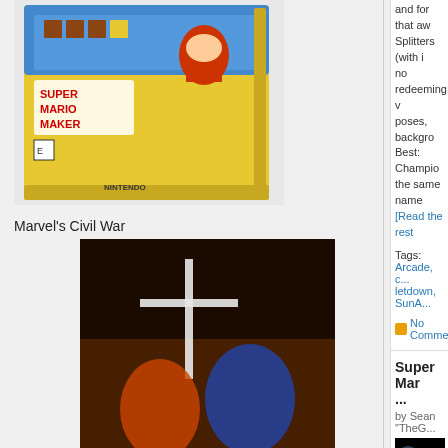[Figure (photo): Super Mario Maker video game box cover showing Mario in constructor outfit with colorful platform game elements]
Marvel's Civil War
[Figure (photo): Civil War Marvel comic book cover showing superheroes in conflict with orange and dark tones, 'CIVIL WAR' text prominent]
Injection Vol. 1
[Figure (photo): Injection Vol. 1 book cover with dark teal forest/nature imagery and 'INJECTION' text at bottom]
and for that aw... Splitters (with i... no redeeming v... poses, backgro... Best: Champio... the same name... [Read the rest
Tags: Arcade, c... letdown, SunA...
No Comme...
Super Mar...
by Sean "TheG...
[Figure (screenshot): Video thumbnail with dark background, showing a person in yellow shirt and a play button area]